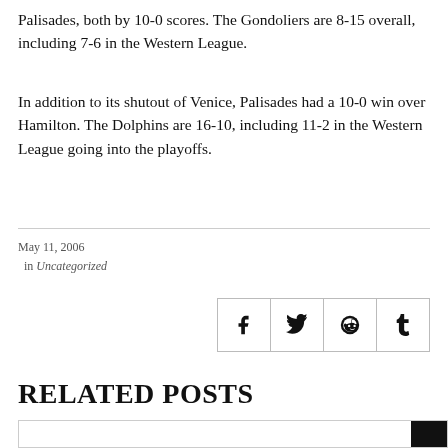Palisades, both by 10-0 scores. The Gondoliers are 8-15 overall, including 7-6 in the Western League.
In addition to its shutout of Venice, Palisades had a 10-0 win over Hamilton. The Dolphins are 16-10, including 11-2 in the Western League going into the playoffs.
May 11, 2006
in Uncategorized
[Figure (infographic): Social share icons for Facebook, Twitter, Reddit, and Tumblr]
RELATED POSTS